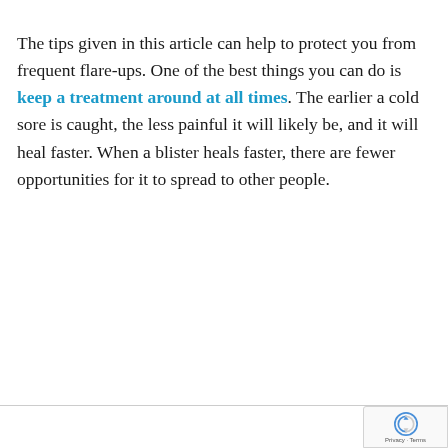The tips given in this article can help to protect you from frequent flare-ups. One of the best things you can do is keep a treatment around at all times. The earlier a cold sore is caught, the less painful it will likely be, and it will heal faster. When a blister heals faster, there are fewer opportunities for it to spread to other people.